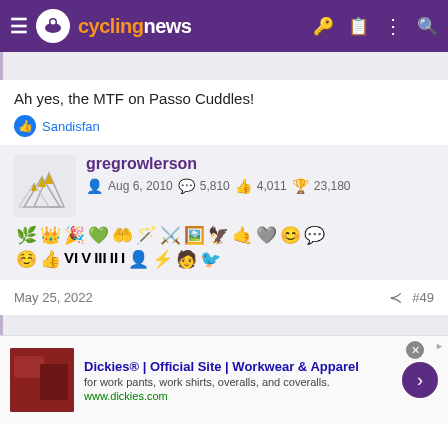cyclingnews
Ah yes, the MTF on Passo Cuddles!
Sandisfan
gregrowlerson — Aug 6, 2010 — 5,810 — 4,011 — 23,180
May 25, 2022 #49
[Figure (screenshot): Advertisement for Dickies Official Site - Workwear & Apparel. for work pants, work shirts, overalls, and coveralls. www.dickies.com]